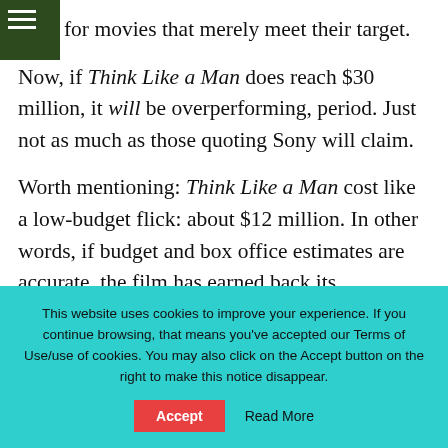buzz for movies that merely meet their target. Now, if Think Like a Man does reach $30 million, it will be overperforming, period. Just not as much as those quoting Sony will claim.
Worth mentioning: Think Like a Man cost like a low-budget flick: about $12 million. In other words, if budget and box office estimates are accurate, the film has earned back its production cost (not including marketing / distribution
This website uses cookies to improve your experience. If you continue browsing, that means you've accepted our Terms of Use/use of cookies. You may also click on the Accept button on the right to make this notice disappear.